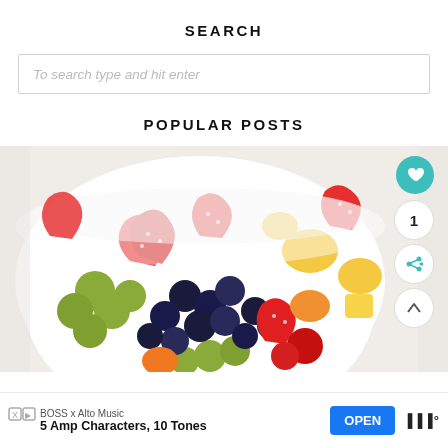SEARCH
To search type and hit enter
POPULAR POSTS
[Figure (photo): A white bowl filled with a colorful fresh fruit salad including strawberries, blueberries, green grapes, pineapple chunks, and other fruits on a white marble surface. Side panel buttons visible: teal heart icon, count of 1, share icon, and up arrow icon.]
BOSS x Alto Music
5 Amp Characters, 10 Tones
OPEN